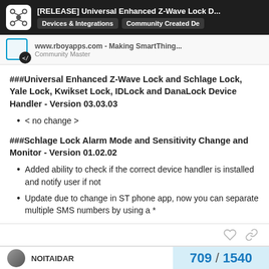[RELEASE] Universal Enhanced Z-Wave Lock D... | Devices & Integrations | Community Created De
www.rboyapps.com - Making SmartThing... | Community Master
###Universal Enhanced Z-Wave Lock and Schlage Lock, Yale Lock, Kwikset Lock, IDLock and DanaLock Device Handler - Version 03.03.03
< no change >
###Schlage Lock Alarm Mode and Sensitivity Change and Monitor - Version 01.02.02
Added ability to check if the correct device handler is installed and notify user if not
Update due to change in ST phone app, now you can separate multiple SMS numbers by using a *
709 / 1540
NOITAIDAR